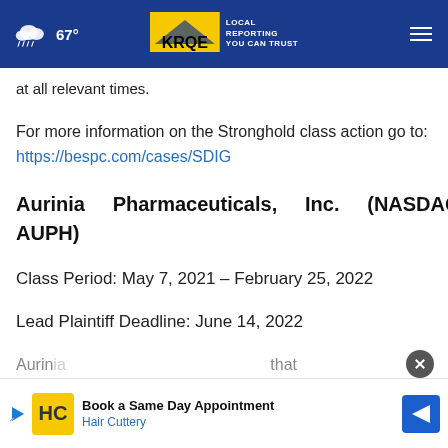67° | KRQE LOCAL REPORTING YOU CAN TRUST
at all relevant times.
For more information on the Stronghold class action go to: https://bespc.com/cases/SDIG
Aurinia Pharmaceuticals, Inc. (NASDAQ: AUPH)
Class Period: May 7, 2021 – February 25, 2022
Lead Plaintiff Deadline: June 14, 2022
Aurin... that develops and commercializes therapies to treat